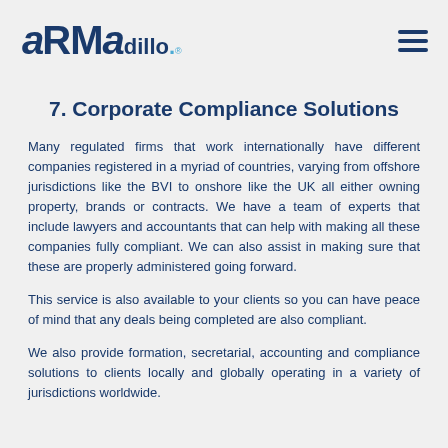aRMadillo. [logo with hamburger menu]
7. Corporate Compliance Solutions
Many regulated firms that work internationally have different companies registered in a myriad of countries, varying from offshore jurisdictions like the BVI to onshore like the UK all either owning property, brands or contracts. We have a team of experts that include lawyers and accountants that can help with making all these companies fully compliant. We can also assist in making sure that these are properly administered going forward.
This service is also available to your clients so you can have peace of mind that any deals being completed are also compliant.
We also provide formation, secretarial, accounting and compliance solutions to clients locally and globally operating in a variety of jurisdictions worldwide.